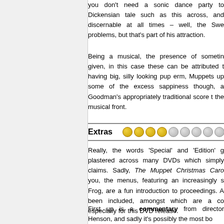you don't need a sonic dance party to carry a Dickensian tale such as this across, and discernable at all times – well, the Swed... problems, but that's part of his attraction.
Being a musical, the presence of sometim... given, in this case these can be attributed to having big, silly looking pup- erm, Muppets up some of the excess sappiness though, a Goodman's appropriately traditional score t... the musical front.
Extras [4 filled dots, 6 empty dots rating]
Really, the words 'Special' and 'Edition' g... plastered across many DVDs which simply claims. Sadly, The Muppet Christmas Caro... you, the menus, featuring an increasingly s... Frog, are a fun introduction to proceedings. A... been included, amongst which are a co... especially for this DVD release.
First up is a commentary from director Henson, and sadly it's possibly the most bo...